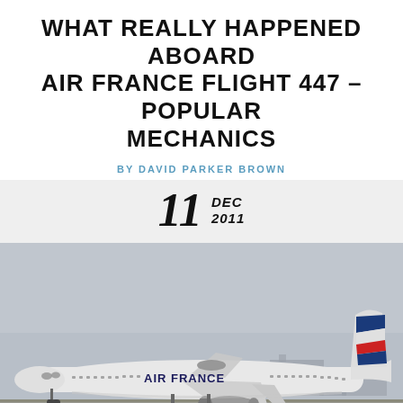WHAT REALLY HAPPENED ABOARD AIR FRANCE FLIGHT 447 – POPULAR MECHANICS
BY DAVID PARKER BROWN
11 DEC 2011
[Figure (photo): Air France Airbus A330 aircraft on a runway taxiing, with blue and red diagonal tail stripes visible. The aircraft is white with 'AIR FRANCE' written on the fuselage. The photo shows the plane against a gray overcast sky with green grass and tarmac in the foreground.]